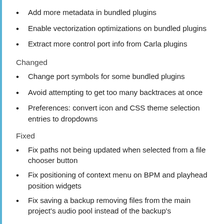Add more metadata in bundled plugins
Enable vectorization optimizations on bundled plugins
Extract more control port info from Carla plugins
Changed
Change port symbols for some bundled plugins
Avoid attempting to get too many backtraces at once
Preferences: convert icon and CSS theme selection entries to dropdowns
Fixed
Fix paths not being updated when selected from a file chooser button
Fix positioning of context menu on BPM and playhead position widgets
Fix saving a backup removing files from the main project's audio pool instead of the backup's